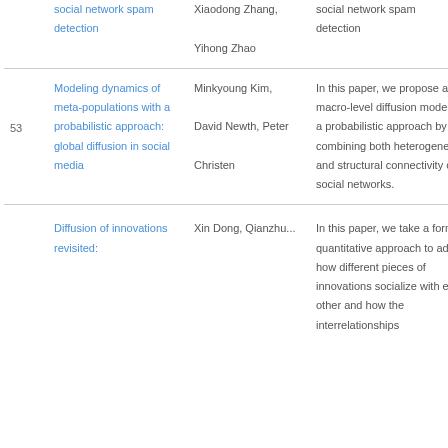| # | Title | Authors | Abstract |
| --- | --- | --- | --- |
|  | social network spam detection | Xiaodong Zhang, Yihong Zhao | social network spam detection |
| 53 | Modeling dynamics of meta-populations with a probabilistic approach: global diffusion in social media | Minkyoung Kim, David Newth, Peter Christen | In this paper, we propose a macro-level diffusion model with a probabilistic approach by combining both heterogeneity and structural connectivity of social networks. |
|  | Diffusion of innovations revisited: | Xin Dong, Qianzhu... | In this paper, we take a formal quantitative approach to address how different pieces of innovations socialize with each other and how the interrelationships... |